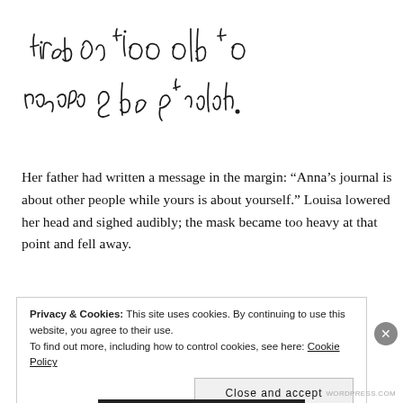[Figure (illustration): Handwritten cursive text in black ink reading: 'tired or too old to remember & be grateful.']
Her father had written a message in the margin: “Anna’s journal is about other people while yours is about yourself.” Louisa lowered her head and sighed audibly; the mask became too heavy at that point and fell away.
Privacy & Cookies: This site uses cookies. By continuing to use this website, you agree to their use.
To find out more, including how to control cookies, see here: Cookie Policy
Close and accept